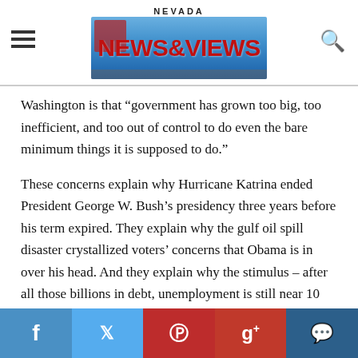Nevada News & Views
Washington is that “government has grown too big, too inefficient, and too out of control to do even the bare minimum things it is supposed to do.”
These concerns explain why Hurricane Katrina ended President George W. Bush’s presidency three years before his term expired. They explain why the gulf oil spill disaster crystallized voters’ concerns that Obama is in over his head. And they explain why the stimulus – after all those billions in debt, unemployment is still near 10 percent – has been deemed a failure.
Americans’ agenda is simple. In broad terms, they want the government to spur job growth, but not by
f  Twitter  Pinterest  g+  Comment